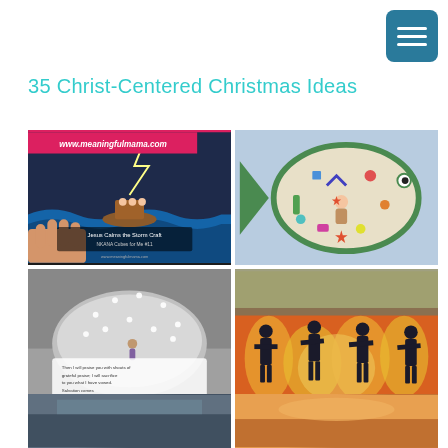[Figure (screenshot): Navigation menu button (hamburger icon) in teal/blue square, top right corner]
35 Christ-Centered Christmas Ideas
[Figure (photo): Grid of 4 craft images: top-left shows 'Jesus Calms the Storm Craft' with www.meaningfulmama.com banner and a child's hand on a storm scene; top-right shows a fish-shaped craft with Jesus figure and colorful items; bottom-left shows a dome/bowl craft with a small figure and scripture text; bottom-right shows silhouette figures in fire (Shadrach Meshach Abednego) with orange background.]
[Figure (photo): Partial bottom row showing two more craft images partially cut off at page bottom]